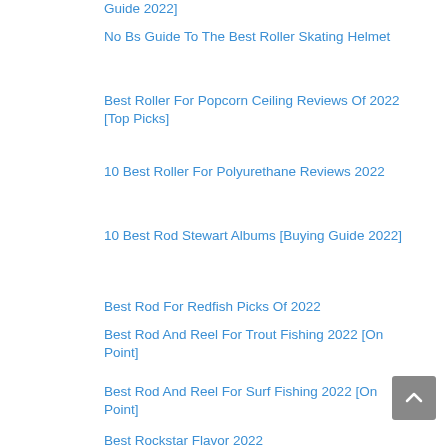Guide 2022]
No Bs Guide To The Best Roller Skating Helmet
Best Roller For Popcorn Ceiling Reviews Of 2022 [Top Picks]
10 Best Roller For Polyurethane Reviews 2022
10 Best Rod Stewart Albums [Buying Guide 2022]
Best Rod For Redfish Picks Of 2022
Best Rod And Reel For Trout Fishing 2022 [On Point]
Best Rod And Reel For Surf Fishing 2022 [On Point]
Best Rockstar Flavor 2022